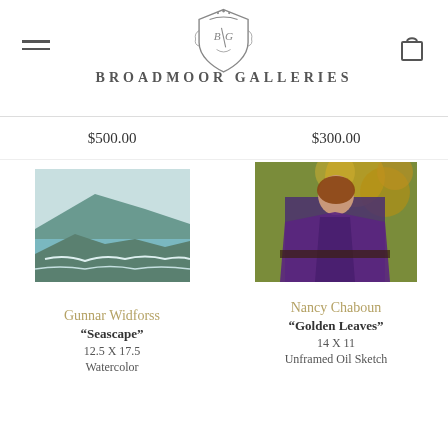Broadmoor Galleries
$500.00    $300.00
[Figure (photo): Painting of a seascape with rocky coastline, watercolor style, impressionist, teal and blue tones]
[Figure (photo): Portrait oil sketch of a young woman with red hair wearing a purple shawl, seated against golden foliage background]
Gunnar Widforss
"Seascape"
12.5 X 17.5
Watercolor
Nancy Chaboun
"Golden Leaves"
14 X 11
Unframed Oil Sketch